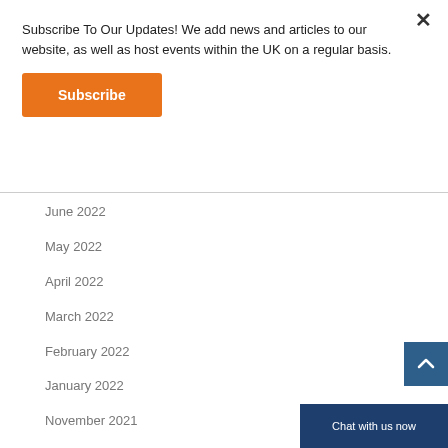Subscribe To Our Updates! We add news and articles to our website, as well as host events within the UK on a regular basis.
Subscribe
June 2022
May 2022
April 2022
March 2022
February 2022
January 2022
November 2021
October 2021
September 2021
August 2021